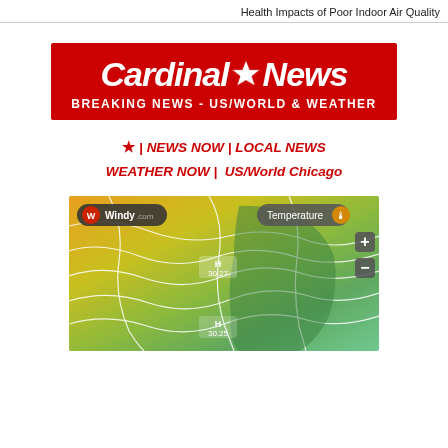Health Impacts of Poor Indoor Air Quality
[Figure (logo): Cardinal News logo on red background with white bold italic text 'Cardinal News' with star, and subtitle 'BREAKING NEWS - US/WORLD & WEATHER']
★ | NEWS NOW | LOCAL NEWS
WEATHER NOW | US/World Chicago
[Figure (screenshot): Windy.com weather map showing temperature layer over North America with pressure contour lines. Shows 'H 30.27' and 'H 30.25' high pressure labels. Temperature overlay shows greens and yellows. UI shows '+' and '-' zoom buttons and 'Temperature' label with thermometer icon.]